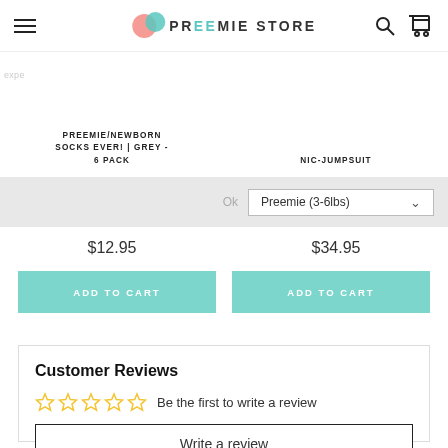Preemie Store — navigation header with hamburger menu, logo, search and cart icons
PREEMIE/NEWBORN SOCKS EVER! | GREY - 6 PACK
NIC-JUMPSUIT
Preemie (3-6lbs)
$12.95
$34.95
Add to cart
Add to cart
Customer Reviews
Be the first to write a review
Write a review